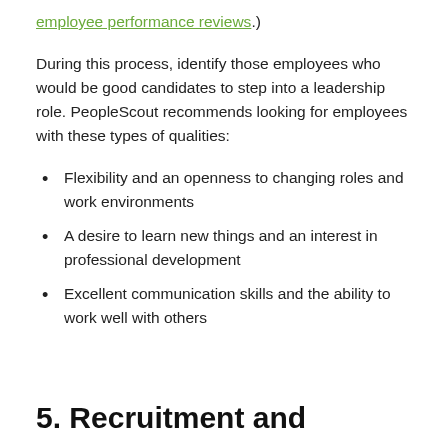employee performance reviews.)
During this process, identify those employees who would be good candidates to step into a leadership role. PeopleScout recommends looking for employees with these types of qualities:
Flexibility and an openness to changing roles and work environments
A desire to learn new things and an interest in professional development
Excellent communication skills and the ability to work well with others
5. Recruitment and